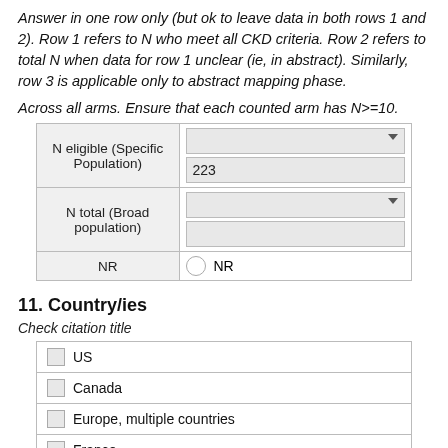Answer in one row only (but ok to leave data in both rows 1 and 2). Row 1 refers to N who meet all CKD criteria. Row 2 refers to total N when data for row 1 unclear (ie, in abstract). Similarly, row 3 is applicable only to abstract mapping phase.
Across all arms. Ensure that each counted arm has N>=10.
|  |  |
| --- | --- |
| N eligible (Specific Population) | [dropdown] 223 |
| N total (Broad population) | [dropdown] [text input] |
| NR | ○ NR |
11. Country/ies
Check citation title
| ☐ US |
| ☐ Canada |
| ☐ Europe, multiple countries |
| ☐ France |